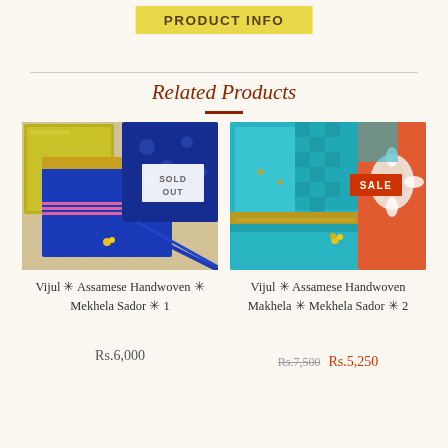PRODUCT INFO
Related Products
[Figure (photo): Blue and yellow Assamese handwoven fabric with SOLD OUT badge]
Vijul ✳ Assamese Handwoven ✳ Mekhela Sador ✳ 1
Rs.6,000
[Figure (photo): Teal/turquoise Assamese handwoven fabric with SALE badge]
Vijul ✳ Assamese Handwoven Makhela ✳ Mekhela Sador ✳ 2
Rs.7,500  Rs.5,250